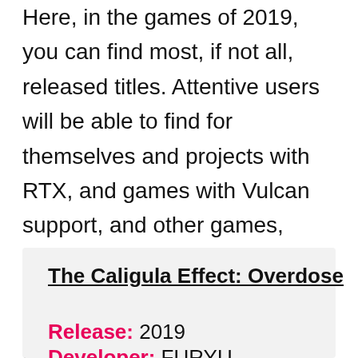Here, in the games of 2019, you can find most, if not all, released titles. Attentive users will be able to find for themselves and projects with RTX, and games with Vulcan support, and other games, what you want. Traditionally, the section contains video games of different genres and types: racing, fighting, for two, with the English voice, MMORPG, action, simulation (sports and not only), horror, action games, and much more.
The Caligula Effect: Overdose
Release: 2019
Developer: FURYU